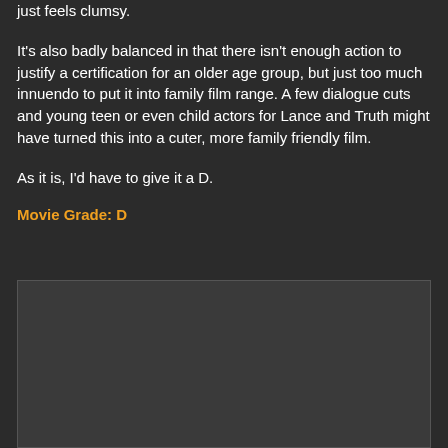just feels clumsy.
It's also badly balanced in that there isn't enough action to justify a certification for an older age group, but just too much innuendo to put it into family film range. A few dialogue cuts and young teen or even child actors for Lance and Truth might have turned this into a cuter, more family friendly film.
As it is, I'd have to give it a D.
Movie Grade: D
[Figure (photo): Dark image placeholder area at the bottom of the page]